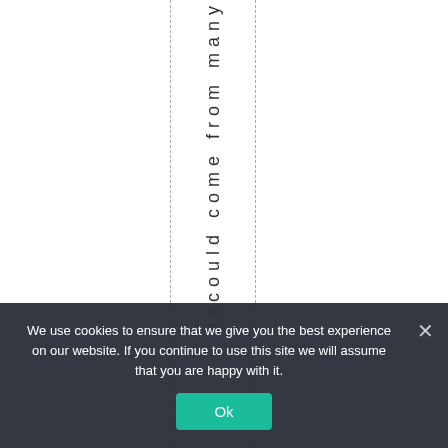dscouldc omefrom many
We use cookies to ensure that we give you the best experience on our website. If you continue to use this site we will assume that you are happy with it.